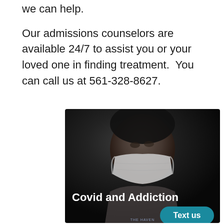we can help.
Our admissions counselors are available 24/7 to assist you or your loved one in finding treatment.  You can call us at 561-328-8627.
[Figure (photo): A person wearing a surgical/medical face mask in a dark, moody setting. Overlaid text reads 'Covid and Addiction'. A teal 'Text us' button appears in the lower right and a 'THE HAVEN' logo at the bottom center.]